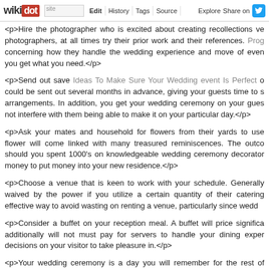wikidot | site | Edit | History | Tags | Source | Explore | Share on
<p>Hire the photographer who is excited about creating recollections ve photographers, at all times try their prior work and their references. Prog concerning how they handle the wedding experience and move of even you get what you need.</p>
<p>Send out save Ideas To Make Sure Your Wedding event Is Perfect o could be sent out several months in advance, giving your guests time to s arrangements. In addition, you get your wedding ceremony on your gues not interfere with them being able to make it on your particular day.</p>
<p>Ask your mates and household for flowers from their yards to use flower will come linked with many treasured reminiscences. The outco should you spent 1000's on knowledgeable wedding ceremony decorator money to put money into your new residence.</p>
<p>Choose a venue that is keen to work with your schedule. Generally waived by the power if you utilize a certain quantity of their catering effective way to avoid wasting on renting a venue, particularly since wedd</p>
<p>Consider a buffet on your reception meal. A buffet will price significa additionally will not must pay for servers to handle your dining exper decisions on your visitor to take pleasure in.</p>
<p>Your wedding ceremony is a day you will remember for the rest of hectic, you'll remember much much less of. Take the advice of this text t more control over the even itself.</p> - Comments: 0
Social Media Advertising Advice That everybody